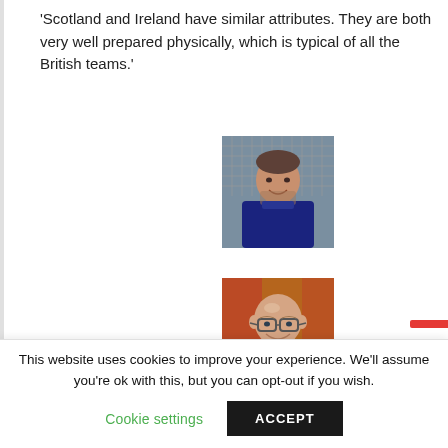'Scotland and Ireland have similar attributes. They are both very well prepared physically, which is typical of all the British teams.'
[Figure (photo): Photo of a male footballer, dark jersey, appears to be smiling, net/stadium background]
[Figure (photo): Photo of a bald man with glasses, smiling, wearing a suit, indoor background]
This website uses cookies to improve your experience. We'll assume you're ok with this, but you can opt-out if you wish.
Cookie settings
ACCEPT